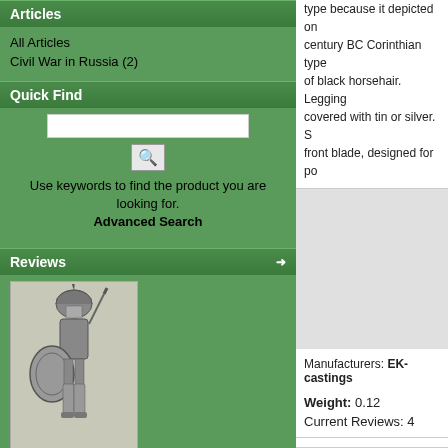Articles
All Articles
Civil War in Russia (2)
Quick Find
Use keywords to find the product you are looking for. Advanced Search
Reviews
[Figure (illustration): Drawing of an ancient Greek warrior/hoplite with helmet, shield and spear]
Piacevolmente colpito, la foto non rende abbastanza, perfett ..
Manufacturers
Please Select
type because it depicted on century BC Corinthian type of black horsehair. Legging covered with tin or silver. S front blade, designed for po
Manufacturers: EK-castings
Weight: 0.12
Current Reviews: 4
Reviews